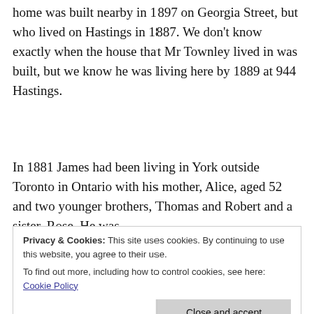home was built nearby in 1897 on Georgia Street, but who lived on Hastings in 1887. We don't know exactly when the house that Mr Townley lived in was built, but we know he was living here by 1889 at 944 Hastings.
In 1881 James had been living in York outside Toronto in Ontario with his mother, Alice, aged 52 and two younger brothers, Thomas and Robert and a sister, Rose. He was
younger siblings were there, there is an older
Privacy & Cookies: This site uses cookies. By continuing to use this website, you agree to their use. To find out more, including how to control cookies, see here: Cookie Policy